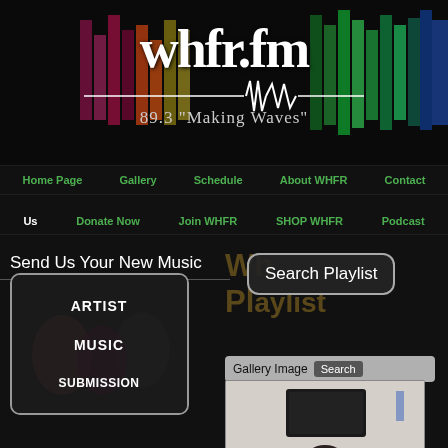[Figure (screenshot): WHFR.fm radio station website header banner with colorful audio waveform equalizer bars and logo text 'whfr.fm' with tagline '89.3 Making Waves']
Home Page   Gallery   Schedule   About WHFR   Contact
Us   Donate Now   Join WHFR   SHOP WHFR   Podcast
Send Us Your New Music
[Figure (illustration): Artist Music Submission button with musicians playing instruments in background]
[Figure (screenshot): Search Playlist overlay button]
Gallery Images
[Figure (photo): Gallery image thumbnail showing a person in a room with a TV mounted on the wall]